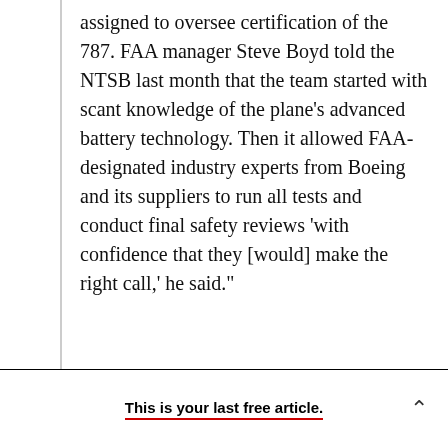assigned to oversee certification of the 787. FAA manager Steve Boyd told the NTSB last month that the team started with scant knowledge of the plane's advanced battery technology. Then it allowed FAA-designated industry experts from Boeing and its suppliers to run all tests and conduct final safety reviews 'with confidence that they [would] make the right call,' he said."
There's a reason for this. Modern airplanes are unbelievably complicated, and the FAA has
This is your last free article.